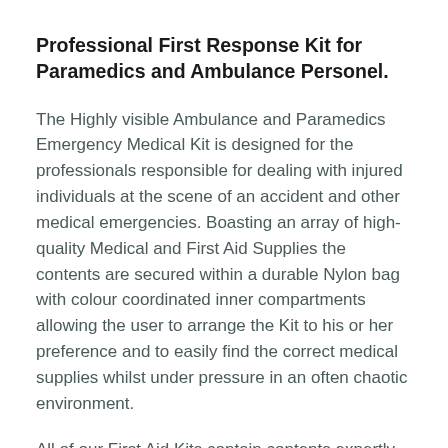Professional First Response Kit for Paramedics and Ambulance Personel.
The Highly visible Ambulance and Paramedics Emergency Medical Kit is designed for the professionals responsible for dealing with injured individuals at the scene of an accident and other medical emergencies. Boasting an array of high-quality Medical and First Aid Supplies the contents are secured within a durable Nylon bag with colour coordinated inner compartments allowing the user to arrange the Kit to his or her preference and to easily find the correct medical supplies whilst under pressure in an often chaotic environment.
All of our First Aid Kits contain contents expertly